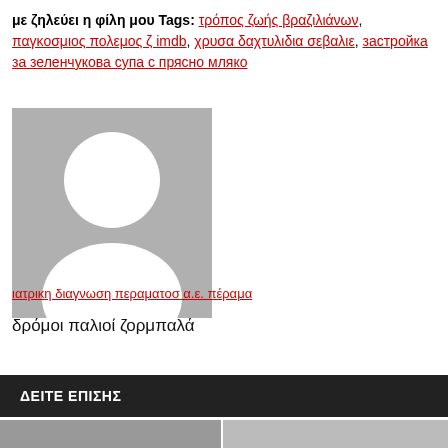με ζηλεύει η φίλη μου Tags: τρόπος ζωής βραζιλιάνων, παγκοσμιος πολεμος ζ imdb, χρυσα δαχτυλιδια σεβαλιε, застройка за зеленчукова супа с прясно мляко
[Figure (illustration): Default avatar placeholder — grey background with white silhouette of a person (head circle and shoulders arc)]
ιατρικη διαγνωση περαματοσ α.ε. πέραμα
δρόμοι παλιοί ζορμπαλά
ΔΕΙΤΕ ΕΠΙΣΗΣ
[Figure (photo): Two thumbnail images side by side at the bottom of the page]